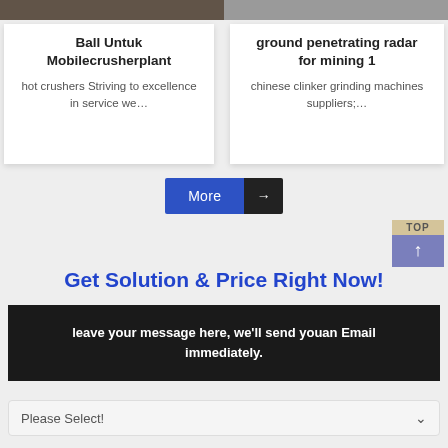[Figure (photo): Photo strip at top of cards — mechanical/industrial equipment imagery]
Ball Untuk Mobilecrusherplant
hot crushers Striving to excellence in service we…
ground penetrating radar for mining 1
chinese clinker grinding machines suppliers;…
More →
TOP ↑
Get Solution & Price Right Now!
leave your message here, we'll send youan Email immediately.
Please Select!